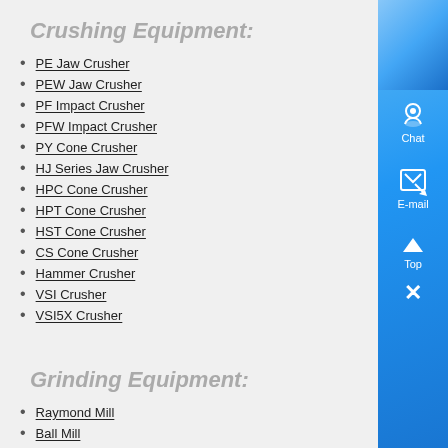Crushing Equipment:
PE Jaw Crusher
PEW Jaw Crusher
PF Impact Crusher
PFW Impact Crusher
PY Cone Crusher
HJ Series Jaw Crusher
HPC Cone Crusher
HPT Cone Crusher
HST Cone Crusher
CS Cone Crusher
Hammer Crusher
VSI Crusher
VSI5X Crusher
Grinding Equipment:
Raymond Mill
Ball Mill
LM Vertical Grinding Mills
LUM Ultrafine Vertical Roller Mill
MTM Trapezium Grinder